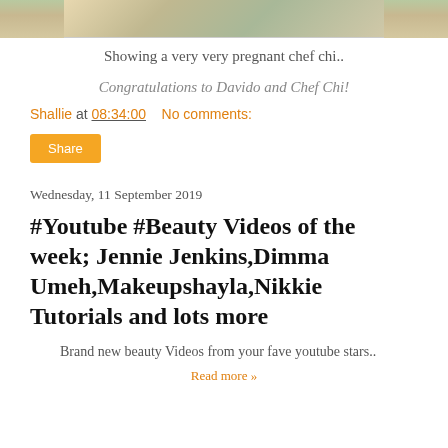[Figure (photo): Cropped photo showing a pregnant person, partial view at top of page]
Showing a very very pregnant chef chi..
Congratulations to Davido and Chef Chi!
Shallie at 08:34:00    No comments:
Share
Wednesday, 11 September 2019
#Youtube #Beauty Videos of the week; Jennie Jenkins,Dimma Umeh,Makeupshayla,Nikkie Tutorials and lots more
Brand new beauty Videos from your fave youtube stars..